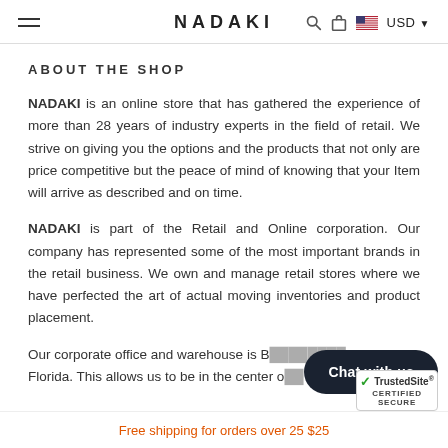NADAKI   USD
ABOUT THE SHOP
NADAKI is an online store that has gathered the experience of more than 28 years of industry experts in the field of retail. We strive on giving you the options and the products that not only are price competitive but the peace of mind of knowing that your Item will arrive as described and on time.
NADAKI is part of the Retail and Online corporation. Our company has represented some of the most important brands in the retail business. We own and manage retail stores where we have perfected the art of actual moving inventories and product placement.
Our corporate office and warehouse is B... Florida. This allows us to be in the center o...
Chat with us
Free shipping for orders over 25 $25